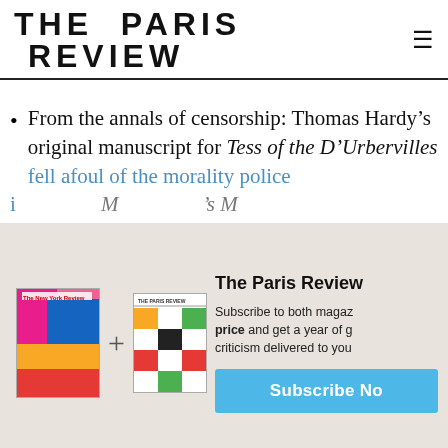THE PARIS REVIEW
From the annals of censorship: Thomas Hardy’s original manuscript for Tess of the D’Urbervilles fell afoul of the morality police i[n Macmillan’s Magazine]
[partial obscured text behind modal overlay]
[Figure (other): Subscription modal overlay showing two magazine covers (The New York Review and The Paris Review) with a plus sign between them, and text: The Paris Review — Subscribe to both magazines at a special price and get a year of great criticism delivered to you. Subscribe Now button.]
to characters traveling on a Sunday and to
< > LAST / NEXT ARTICLE    SHARE